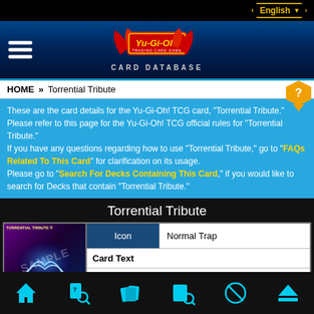English
[Figure (logo): Yu-Gi-Oh! Trading Card Game logo with CARD DATABASE text below]
HOME » Torrential Tribute
These are the card details for the Yu-Gi-Oh! TCG card, "Torrential Tribute." Please refer to this page for the Yu-Gi-Oh! TCG official rules for "Torrential Tribute." If you have any questions regarding how to use "Torrential Tribute," go to "FAQs Related To This Card" for clarification on its usage. Please go to "Search For Decks Containing This Card," if you would like to search for Decks that contain "Torrential Tribute."
Torrential Tribute
| Icon | Normal Trap |
| --- | --- |
| Card Text |  |
[Figure (photo): Torrential Tribute Yu-Gi-Oh card sample image]